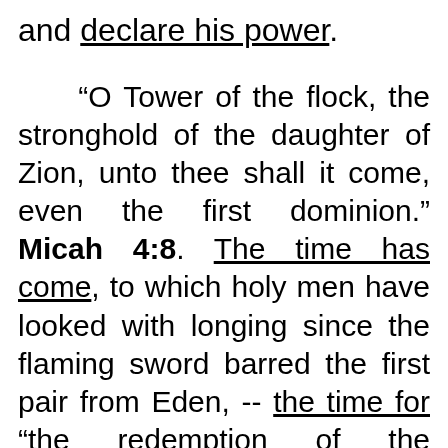and declare his power.
“O Tower of the flock, the stronghold of the daughter of Zion, unto thee shall it come, even the first dominion.” Micah 4:8. The time has come, to which holy men have looked with longing since the flaming sword barred the first pair from Eden, -- the time for “the redemption of the purchased